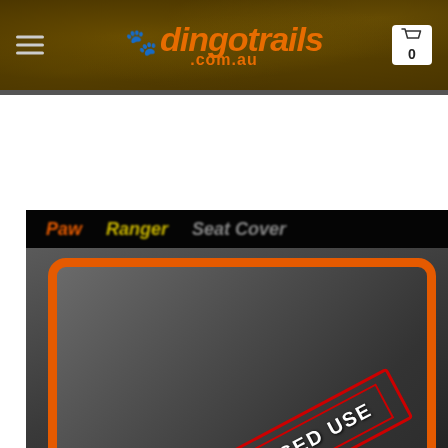[Figure (logo): Dingotrails.com.au website header with logo, hamburger menu, and cart icon on dark brown textured background]
[Figure (photo): Product image with orange frame border on black background, overlaid with a red 'UNAUTHORISED USE' stamp rotated diagonally. Text labels 'Paw', 'Ranger', 'Seat Cover' visible at top of product image area.]